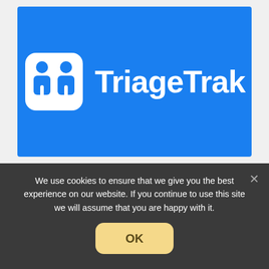[Figure (logo): TriageTrak logo — two white person icons inside a rounded white square, followed by the white text 'TriageTrak', all on a blue background]
We use cookies to ensure that we give you the best experience on our website. If you continue to use this site we will assume that you are happy with it.